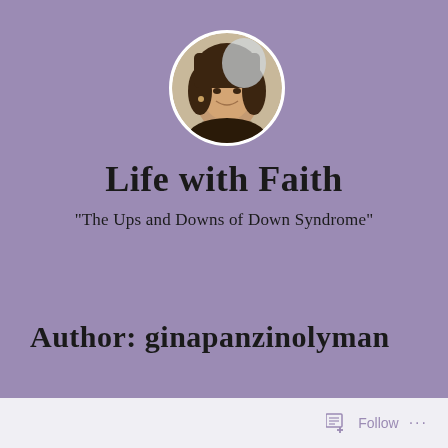[Figure (photo): Circular profile photo of a woman with dark hair, smiling, on a purple background]
Life with Faith
"The Ups and Downs of Down Syndrome"
Author: ginapanzinolyman
Follow ...